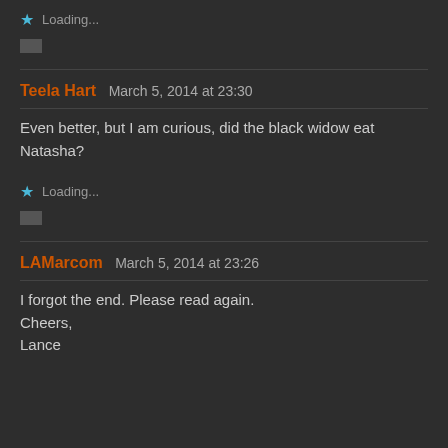★ Loading...
[Figure (other): Small icon/thumbnail placeholder box]
Teela Hart   March 5, 2014 at 23:30
Even better, but I am curious, did the black widow eat Natasha?
★ Loading...
[Figure (other): Small icon/thumbnail placeholder box]
LAMarcom   March 5, 2014 at 23:26
I forgot the end. Please read again.
Cheers,
Lance